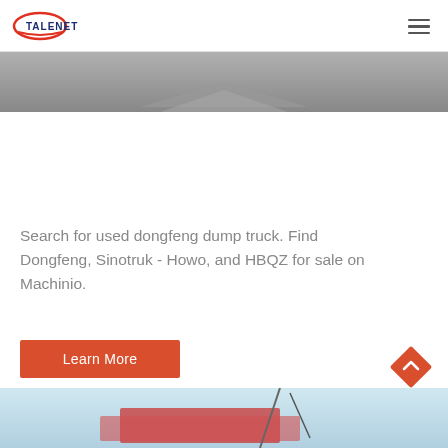TALENET
[Figure (photo): Partial view of a dump truck on a road, showing the top/cab portion, gray tones, cropped at header]
Search for used dongfeng dump truck. Find Dongfeng, Sinotruk - Howo, and HBQZ for sale on Machinio.
[Figure (other): Orange 'Learn More' button]
[Figure (other): Orange diamond-shaped back-to-top arrow button]
[Figure (photo): Bottom partial image showing a truck with red/pink tarp and industrial equipment, light blue sky]